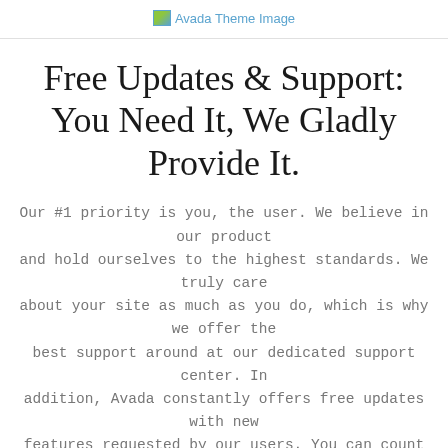Avada Theme Image
Free Updates & Support: You Need It, We Gladly Provide It.
Our #1 priority is you, the user. We believe in our product and hold ourselves to the highest standards. We truly care about your site as much as you do, which is why we offer the best support around at our dedicated support center. In addition, Avada constantly offers free updates with new features requested by our users. You can count on us.
Buy Avada Now!